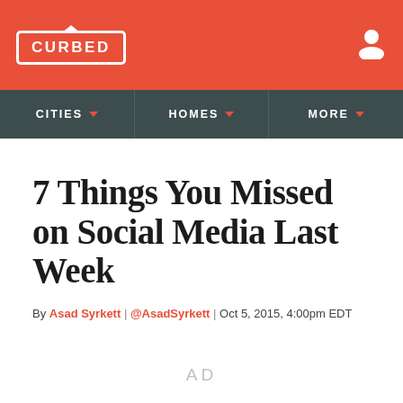CURBED
CITIES | HOMES | MORE
7 Things You Missed on Social Media Last Week
By Asad Syrkett | @AsadSyrkett | Oct 5, 2015, 4:00pm EDT
AD